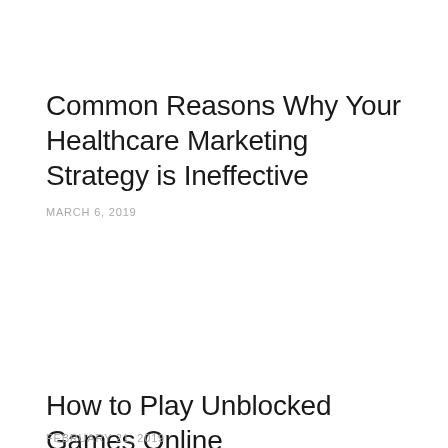Common Reasons Why Your Healthcare Marketing Strategy is Ineffective
MARCH 6, 2019
How to Play Unblocked Games Online
FEBRUARY 21, 2019